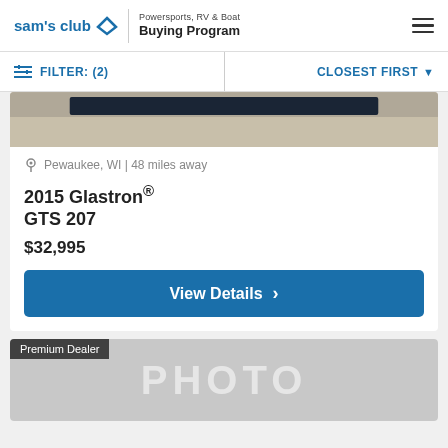sam's club — Powersports, RV & Boat Buying Program
FILTER: (2) | CLOSEST FIRST
[Figure (photo): Partial boat image cropped at top showing hull against sandy/concrete background]
Pewaukee, WI | 48 miles away
2015 Glastron® GTS 207
$32,995
View Details
[Figure (photo): Second listing card with Premium Dealer badge and PHOTO placeholder image in gray]